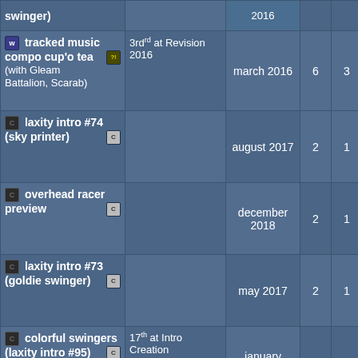| Name | Rank | Date | + | - | 0 | Score | Bar |
| --- | --- | --- | --- | --- | --- | --- | --- |
| (swinger) |  | 2016 (partial) |  |  |  |  |  |
| tracked music compo cup'o tea (with Gleam Battalion, Scarab) | 3rd at Revision 2016 | march 2016 | 6 | 3 | 0 | 0.67 | bar |
| laxity intro #74 (sky printer) |  | august 2017 | 2 | 1 | 0 | 0.67 | bar |
| overhead racer preview |  | december 2018 | 2 | 1 | 0 | 0.67 | bar |
| laxity intro #73 (goldie swinger) |  | may 2017 | 2 | 1 | 0 | 0.67 | bar |
| colorful swingers (laxity intro #95) | 17th at Intro Creation Competition 2019 | january 2020 | 2 | 1 | 0 | 0.67 | bar |